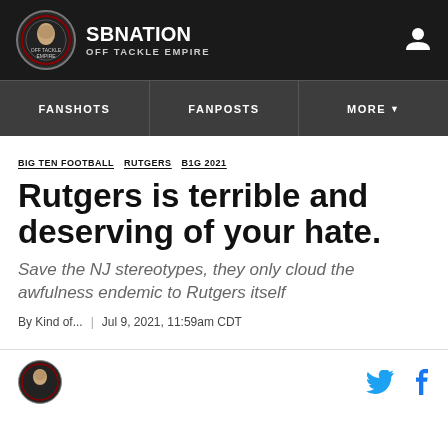SB NATION | OFF TACKLE EMPIRE
FANSHOTS | FANPOSTS | MORE
BIG TEN FOOTBALL RUTGERS B1G 2021
Rutgers is terrible and deserving of your hate.
Save the NJ stereotypes, they only cloud the awfulness endemic to Rutgers itself
By Kind of... | Jul 9, 2021, 11:59am CDT